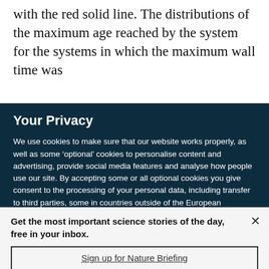with the red solid line. The distributions of the maximum age reached by the system for the systems in which the maximum wall time was
Your Privacy
We use cookies to make sure that our website works properly, as well as some 'optional' cookies to personalise content and advertising, provide social media features and analyse how people use our site. By accepting some or all optional cookies you give consent to the processing of your personal data, including transfer to third parties, some in countries outside of the European Economic Area that do not offer the same data protection standards as the country where you live. You can decide which optional cookies to accept by clicking on 'Manage Settings', where you can
Get the most important science stories of the day, free in your inbox.
Sign up for Nature Briefing